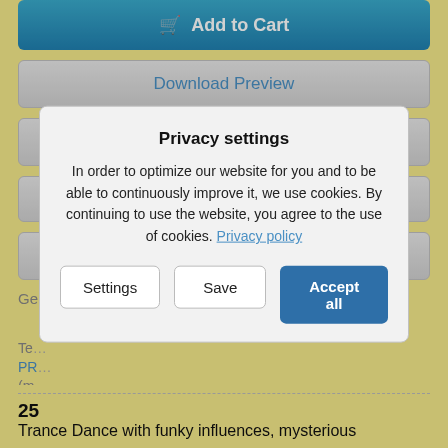Add to Cart
Download Preview
Find related Tracks
☆
Login to Create a Playlist
Genre: Digital Hardcore, Hardcore, Electronic Music, Electro/Old Skool,
Privacy settings
In order to optimize our website for you and to be able to continuously improve it, we use cookies. By continuing to use the website, you agree to the use of cookies. Privacy policy
Settings
Save
Accept all
25
Trance Dance with funky influences, mysterious